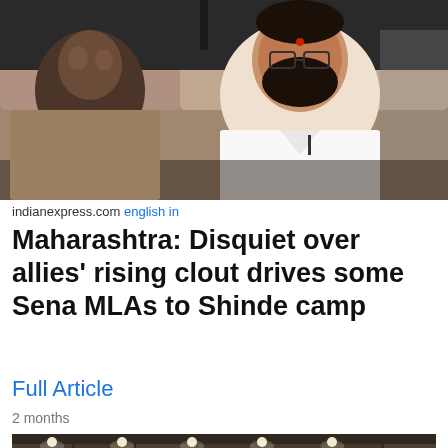[Figure (photo): Two men seated inside a car; the man on the right wearing a white shirt and glasses with a red bindi on his forehead is looking toward the camera; the man on the left is at the steering wheel.]
indianexpress.com english in
Maharashtra: Disquiet over allies' rising clout drives some Sena MLAs to Shinde camp
Full Article
2 months
[Figure (photo): Partial view of an interior architectural space with ceiling lights and a stone-clad wall; ANI logo visible in bottom-right corner.]